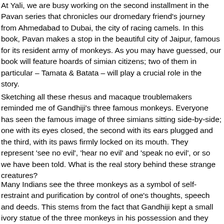At Yali, we are busy working on the second installment in the Pavan series that chronicles our dromedary friend's journey from Ahmedabad to Dubai, the city of racing camels. In this book, Pavan makes a stop in the beautiful city of Jaipur, famous for its resident army of monkeys. As you may have guessed, our book will feature hoards of simian citizens; two of them in particular – Tamata & Batata – will play a crucial role in the story.
Sketching all these rhesus and macaque troublemakers reminded me of Gandhiji's three famous monkeys. Everyone has seen the famous image of three simians sitting side-by-side; one with its eyes closed, the second with its ears plugged and the third, with its paws firmly locked on its mouth. They represent 'see no evil', 'hear no evil' and 'speak no evil', or so we have been told. What is the real story behind these strange creatures?
Many Indians see the three monkeys as a symbol of self-restraint and purification by control of one's thoughts, speech and deeds. This stems from the fact that Gandhiji kept a small ivory statue of the three monkeys in his possession and they became associated with his ideas of ahimsa